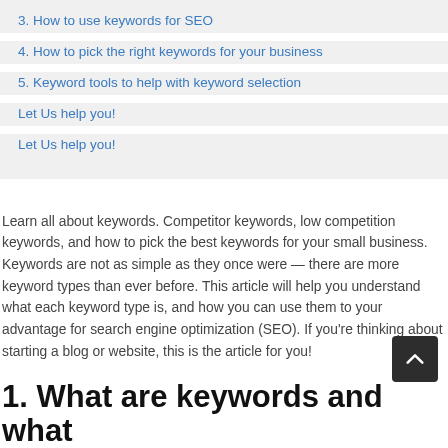3. How to use keywords for SEO
4. How to pick the right keywords for your business
5. Keyword tools to help with keyword selection
Let Us help you!
Let Us help you!
Learn all about keywords. Competitor keywords, low competition keywords, and how to pick the best keywords for your small business. Keywords are not as simple as they once were — there are more keyword types than ever before. This article will help you understand what each keyword type is, and how you can use them to your advantage for search engine optimization (SEO). If you're thinking about starting a blog or website, this is the article for you!
1. What are keywords and what